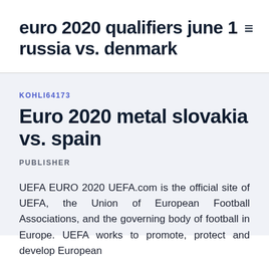euro 2020 qualifiers june 1 russia vs. denmark
KOHLI64173
Euro 2020 metal slovakia vs. spain
PUBLISHER
UEFA EURO 2020 UEFA.com is the official site of UEFA, the Union of European Football Associations, and the governing body of football in Europe. UEFA works to promote, protect and develop European